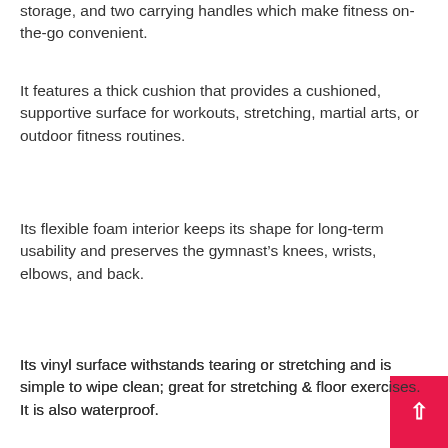storage, and two carrying handles which make fitness on-the-go convenient.
It features a thick cushion that provides a cushioned, supportive surface for workouts, stretching, martial arts, or outdoor fitness routines.
Its flexible foam interior keeps its shape for long-term usability and preserves the gymnast’s knees, wrists, elbows, and back.
Its vinyl surface withstands tearing or stretching and is simple to wipe clean; great for stretching & floor exercises. It is also waterproof.